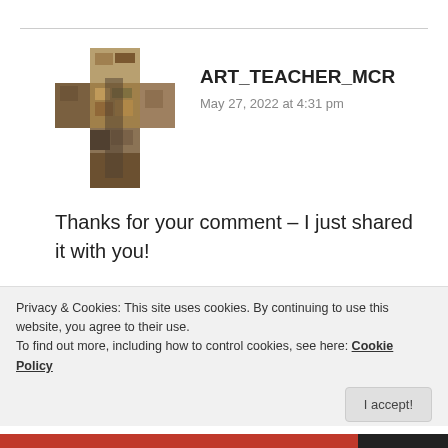[Figure (illustration): Cross-shaped avatar image made of textured stone/wood material for user ART_TEACHER_MCR]
ART_TEACHER_MCR
May 27, 2022 at 4:31 pm
Thanks for your comment – I just shared it with you!
★ Like
👍 0 👎 0 ℹ Rate This
REPLY
Privacy & Cookies: This site uses cookies. By continuing to use this website, you agree to their use.
To find out more, including how to control cookies, see here: Cookie Policy
I accept!